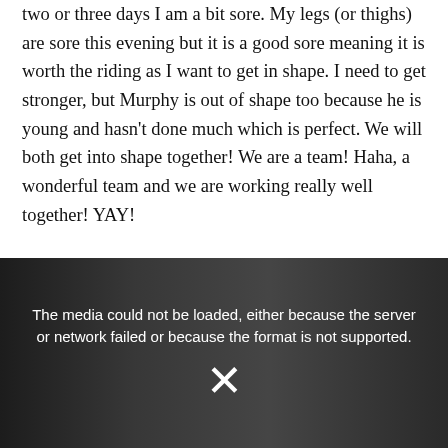two or three days I am a bit sore. My legs (or thighs) are sore this evening but it is a good sore meaning it is worth the riding as I want to get in shape. I need to get stronger, but Murphy is out of shape too because he is young and hasn't done much which is perfect. We will both get into shape together! We are a team! Haha, a wonderful team and we are working really well together! YAY!
[Figure (screenshot): A video player screenshot showing a dark/dimmed outdoor scene with horses and a fence. An error overlay reads: 'The media could not be loaded, either because the server or network failed or because the format is not supported.' with an X icon below.]